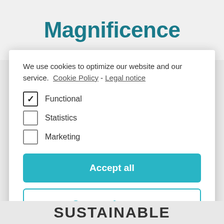The Monkey Magnificence
We use cookies to optimize our website and our service.  Cookie Policy - Legal notice
✓ Functional
☐ Statistics
☐ Marketing
Accept all
Save preferences
SUSTAINABLE